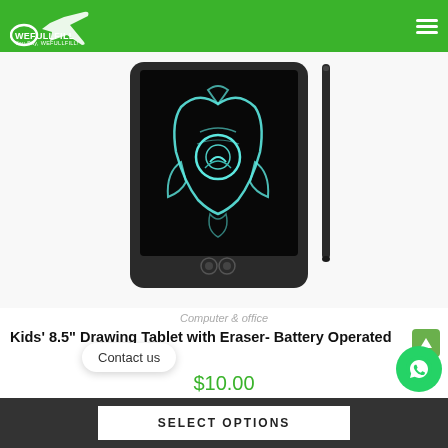WEFULLFILL
[Figure (photo): LCD writing tablet / drawing board (dark/black body) with a stylus pen beside it, showing a rocket drawing on the screen with blue/teal neon-style lines on a black background]
Computer & office
Kids' 8.5" Drawing Tablet with Eraser- Battery Operated
$10.00
Contact us
SELECT OPTIONS